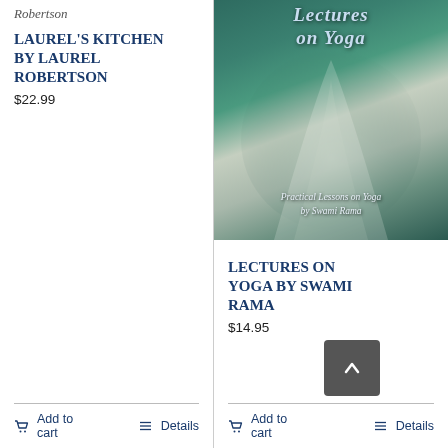Robertson
Laurel's Kitchen by Laurel Robertson
$22.99
Add to cart
Details
[Figure (photo): Book cover of 'Lectures on Yoga' by Swami Rama, showing a misty mountain figure against a teal/green sky background with text 'Practical Lessons on Yoga by Swami Rama']
Lectures on Yoga by Swami Rama
$14.95
Add to cart
Details